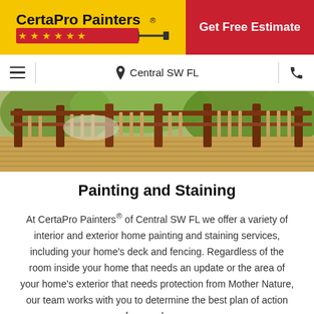[Figure (logo): CertaPro Painters logo on yellow background with red CTA button 'Get Free Estimate']
Central SW FL
[Figure (photo): Exterior wooden deck with railing and green trees in background]
Painting and Staining
At CertaPro Painters® of Central SW FL we offer a variety of interior and exterior home painting and staining services, including your home's deck and fencing. Regardless of the room inside your home that needs an update or the area of your home's exterior that needs protection from Mother Nature, our team works with you to determine the best plan of action for your home.